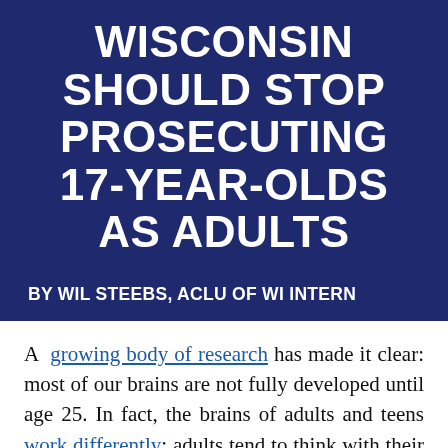WISCONSIN SHOULD STOP PROSECUTING 17-YEAR-OLDS AS ADULTS
BY WIL STEEBS, ACLU OF WI INTERN
A growing body of research has made it clear: most of our brains are not fully developed until age 25. In fact, the brains of adults and teens work differently; adults tend to think with their prefrontal cortex, the region associated with rational thinking and decision-making, whereas teens tend to think with their